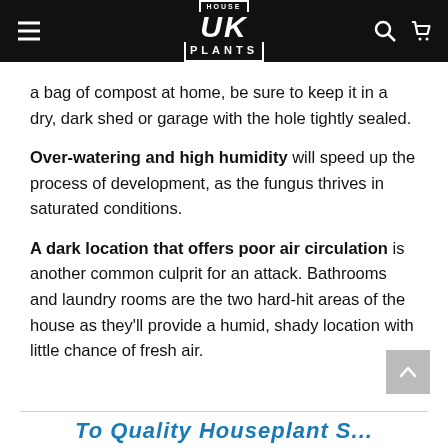HOUSE UK PLANTS
a bag of compost at home, be sure to keep it in a dry, dark shed or garage with the hole tightly sealed.
Over-watering and high humidity will speed up the process of development, as the fungus thrives in saturated conditions.
A dark location that offers poor air circulation is another common culprit for an attack. Bathrooms and laundry rooms are the two hard-hit areas of the house as they’ll provide a humid, shady location with little chance of fresh air.